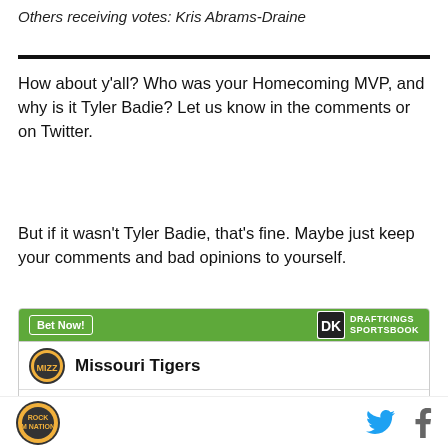Others receiving votes: Kris Abrams-Draine
How about y'all? Who was your Homecoming MVP, and why is it Tyler Badie? Let us know in the comments or on Twitter.
But if it wasn't Tyler Badie, that's fine. Maybe just keep your comments and bad opinions to yourself.
[Figure (infographic): DraftKings Sportsbook widget with green header showing 'Bet Now!' button and DraftKings Sportsbook logo, and body showing Missouri Tigers team logo and name.]
Missouri Tigers site logo, Twitter icon, Facebook icon